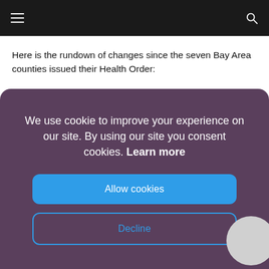Here is the rundown of changes since the seven Bay Area counties issued their Health Order:
We use cookie to improve your experience on our site. By using our site you consent cookies. Learn more
Allow cookies
Decline